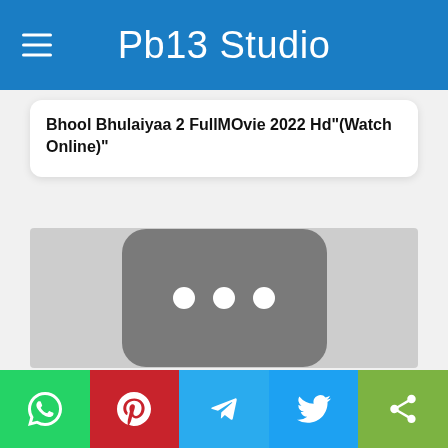Pb13 Studio
Bhool Bhulaiyaa 2 FullMOvie 2022 Hd"(Watch Online)"
[Figure (screenshot): Video loading placeholder with a dark rounded rectangle containing three white dots, on a light gray background, resembling a YouTube video thumbnail loading state.]
Share bar with WhatsApp, Pinterest, Telegram, Twitter, and Share buttons